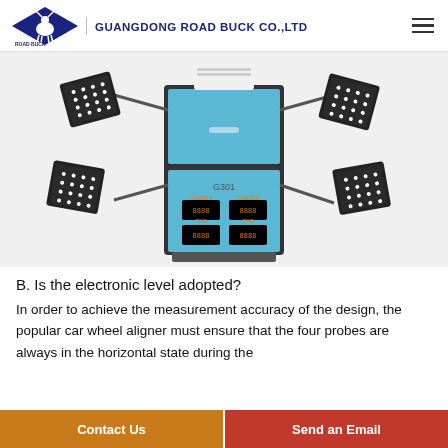GUANGDONG ROAD BUCK CO.,LTD
[Figure (photo): Wheel aligner machine model G301 with light blue cabinet, black top printer unit, and four sensor arm probes with dot-pattern targets extended on both sides.]
B. Is the electronic level adopted?
In order to achieve the measurement accuracy of the design, the popular car wheel aligner must ensure that the four probes are always in the horizontal state during the...
Contact Us   Send an Email